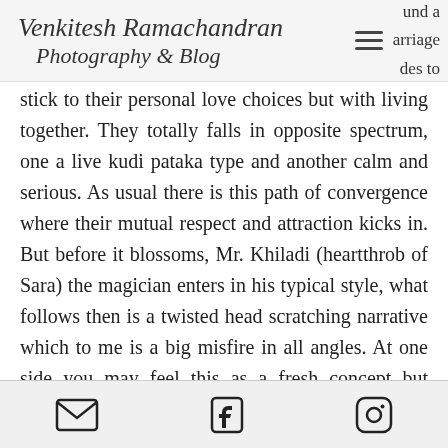Venkitesh Ramachandran Photography & Blog
und a arriage des to stick to their personal love choices but with living together. They totally falls in opposite spectrum, one a live kudi pataka type and another calm and serious. As usual there is this path of convergence where their mutual respect and attraction kicks in. But before it blossoms, Mr. Khiladi (heartthrob of Sara) the magician enters in his typical style, what follows then is a twisted head scratching narrative which to me is a big misfire in all angles. At one side you may feel this as a fresh concept but execution of that concept was
Email | Facebook | Instagram